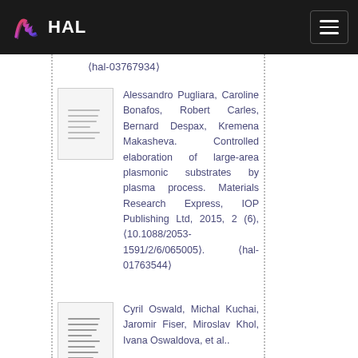HAL
⟨hal-03767934⟩
Alessandro Pugliara, Caroline Bonafos, Robert Carles, Bernard Despax, Kremena Makasheva. Controlled elaboration of large-area plasmonic substrates by plasma process. Materials Research Express, IOP Publishing Ltd, 2015, 2 (6), ⟨10.1088/2053-1591/2/6/065005⟩. ⟨hal-01763544⟩
Cyril Oswald, Michal Kuchai, Jaromir Fiser, Miroslav Khol, Ivana Oswaldova, et al..